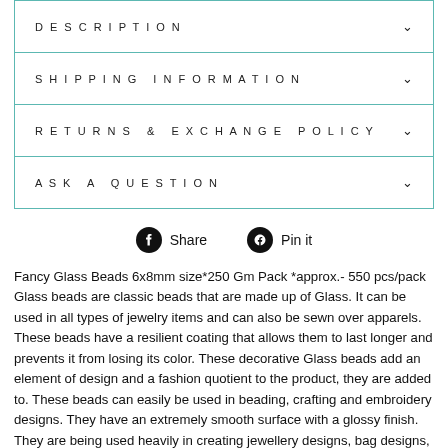DESCRIPTION
SHIPPING INFORMATION
RETURNS & EXCHANGE POLICY
ASK A QUESTION
Share   Pin it
Fancy Glass Beads 6x8mm size*250 Gm Pack *approx.- 550 pcs/pack
Glass beads are classic beads that are made up of Glass. It can be used in all types of jewelry items and can also be sewn over apparels. These beads have a resilient coating that allows them to last longer and prevents it from losing its color. These decorative Glass beads add an element of design and a fashion quotient to the product, they are added to. These beads can easily be used in beading, crafting and embroidery designs. They have an extremely smooth surface with a glossy finish. They are being used heavily in creating jewellery designs, bag designs, shoe designs and on high street fashion products such as women's tops, jackets, bottom